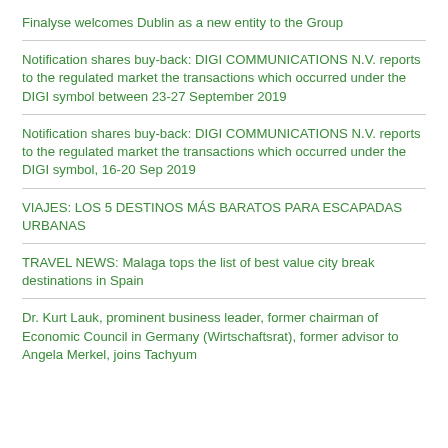Finalyse welcomes Dublin as a new entity to the Group
Notification shares buy-back: DIGI COMMUNICATIONS N.V. reports to the regulated market the transactions which occurred under the DIGI symbol between 23-27 September 2019
Notification shares buy-back: DIGI COMMUNICATIONS N.V. reports to the regulated market the transactions which occurred under the DIGI symbol, 16-20 Sep 2019
VIAJES: LOS 5 DESTINOS MÁS BARATOS PARA ESCAPADAS URBANAS
TRAVEL NEWS: Malaga tops the list of best value city break destinations in Spain
Dr. Kurt Lauk, prominent business leader, former chairman of Economic Council in Germany (Wirtschaftsrat), former advisor to Angela Merkel, joins Tachyum